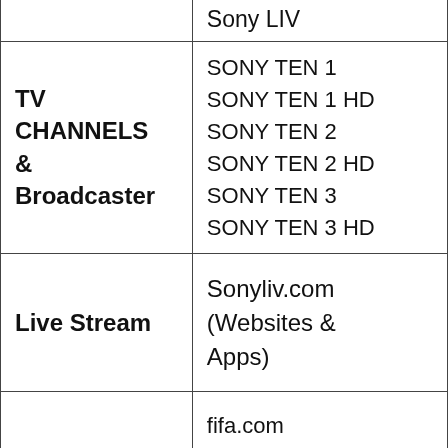| Category | Details |
| --- | --- |
|  | Sony LIV |
| TV CHANNELS & Broadcaster | SONY TEN 1
SONY TEN 1 HD
SONY TEN 2
SONY TEN 2 HD
SONY TEN 3
SONY TEN 3 HD |
| Live Stream | Sonyliv.com (Websites & Apps) |
| TICKETS | fifa.com
Viagogo.co.uk,
ticketmaster.com |